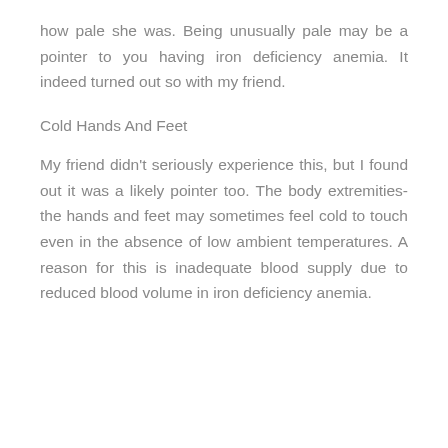how pale she was. Being unusually pale may be a pointer to you having iron deficiency anemia. It indeed turned out so with my friend.
Cold Hands And Feet
My friend didn't seriously experience this, but I found out it was a likely pointer too. The body extremities- the hands and feet may sometimes feel cold to touch even in the absence of low ambient temperatures. A reason for this is inadequate blood supply due to reduced blood volume in iron deficiency anemia.